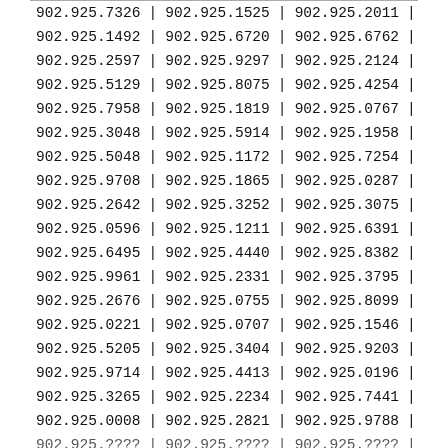| 902.925.7326 | | | 902.925.1525 | | | 902.925.2011 | | |
| 902.925.1492 | | | 902.925.6720 | | | 902.925.6762 | | |
| 902.925.2597 | | | 902.925.9297 | | | 902.925.2124 | | |
| 902.925.5129 | | | 902.925.8075 | | | 902.925.4254 | | |
| 902.925.7958 | | | 902.925.1819 | | | 902.925.0767 | | |
| 902.925.3048 | | | 902.925.5914 | | | 902.925.1958 | | |
| 902.925.5048 | | | 902.925.1172 | | | 902.925.7254 | | |
| 902.925.9708 | | | 902.925.1865 | | | 902.925.0287 | | |
| 902.925.2642 | | | 902.925.3252 | | | 902.925.3075 | | |
| 902.925.0596 | | | 902.925.1211 | | | 902.925.6391 | | |
| 902.925.6495 | | | 902.925.4440 | | | 902.925.8382 | | |
| 902.925.9961 | | | 902.925.2331 | | | 902.925.3795 | | |
| 902.925.2676 | | | 902.925.0755 | | | 902.925.8099 | | |
| 902.925.0221 | | | 902.925.0707 | | | 902.925.1546 | | |
| 902.925.5205 | | | 902.925.3404 | | | 902.925.9203 | | |
| 902.925.9714 | | | 902.925.4413 | | | 902.925.0196 | | |
| 902.925.3265 | | | 902.925.2234 | | | 902.925.7441 | | |
| 902.925.0008 | | | 902.925.2821 | | | 902.925.9788 | | |
| 902.925.???? | | | 902.925.???? | | | 902.925.???? | | |